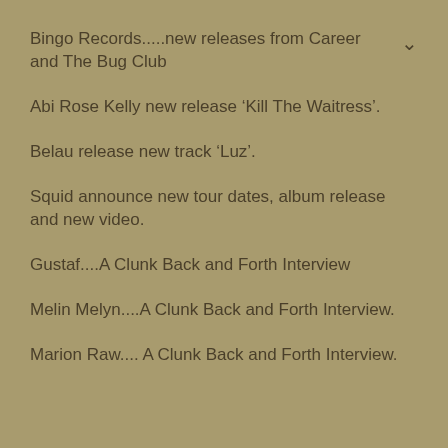Bingo Records.....new releases from Career and The Bug Club
Abi Rose Kelly new release ‘Kill The Waitress’.
Belau release new track ‘Luz’.
Squid announce new tour dates, album release and new video.
Gustaf....A Clunk Back and Forth Interview
Melin Melyn....A Clunk Back and Forth Interview.
Marion Raw.... A Clunk Back and Forth Interview.